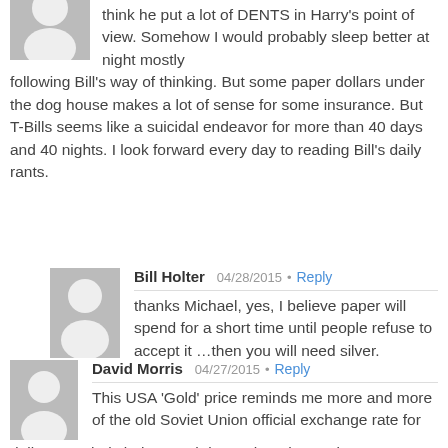think he put a lot of DENTS in Harry's point of view. Somehow I would probably sleep better at night mostly following Bill's way of thinking. But some paper dollars under the dog house makes a lot of sense for some insurance. But T-Bills seems like a suicidal endeavor for more than 40 days and 40 nights. I look forward every day to reading Bill's daily rants.
Bill Holter  04/28/2015 • Reply
thanks Michael, yes, I believe paper will spend for a short time until people refuse to accept it …then you will need silver.
David Morris  04/27/2015 • Reply
This USA 'Gold' price reminds me more and more of the old Soviet Union official exchange rate for dollars to rubels being much lower than the market rate.
Gold is Money
Currency is short lived manipulated notes that should convert to